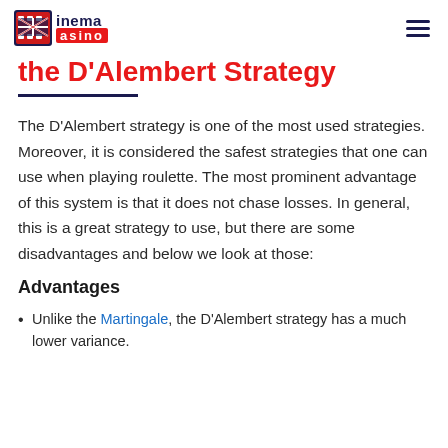inema casino
the D'Alembert Strategy
The D'Alembert strategy is one of the most used strategies. Moreover, it is considered the safest strategies that one can use when playing roulette. The most prominent advantage of this system is that it does not chase losses. In general, this is a great strategy to use, but there are some disadvantages and below we look at those:
Advantages
Unlike the Martingale, the D'Alembert strategy has a much lower variance.